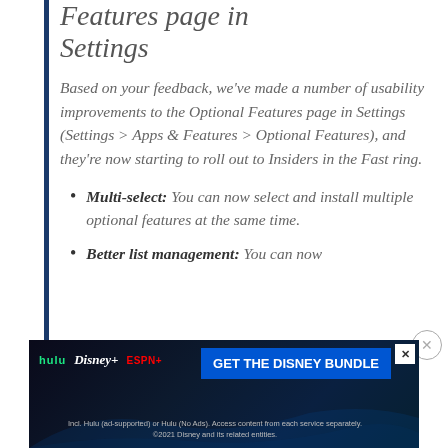Features page in Settings
Based on your feedback, we've made a number of usability improvements to the Optional Features page in Settings (Settings > Apps & Features > Optional Features), and they're now starting to roll out to Insiders in the Fast ring.
Multi-select: You can now select and install multiple optional features at the same time.
Better list management: You can now
[Figure (other): Disney Bundle advertisement banner with Hulu, Disney+, ESPN+ logos and 'GET THE DISNEY BUNDLE' call to action button. Fine print reads: Incl. Hulu (ad-supported) or Hulu (No Ads). Access content from each service separately. ©2021 Disney and its related entities.]